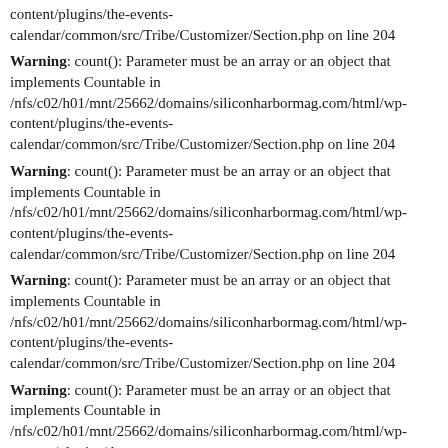content/plugins/the-events-calendar/common/src/Tribe/Customizer/Section.php on line 204
Warning: count(): Parameter must be an array or an object that implements Countable in /nfs/c02/h01/mnt/25662/domains/siliconharbormag.com/html/wp-content/plugins/the-events-calendar/common/src/Tribe/Customizer/Section.php on line 204
Warning: count(): Parameter must be an array or an object that implements Countable in /nfs/c02/h01/mnt/25662/domains/siliconharbormag.com/html/wp-content/plugins/the-events-calendar/common/src/Tribe/Customizer/Section.php on line 204
Warning: count(): Parameter must be an array or an object that implements Countable in /nfs/c02/h01/mnt/25662/domains/siliconharbormag.com/html/wp-content/plugins/the-events-calendar/common/src/Tribe/Customizer/Section.php on line 204
Warning: count(): Parameter must be an array or an object that implements Countable in /nfs/c02/h01/mnt/25662/domains/siliconharbormag.com/html/wp-content/plugins/the-events-calendar/common/src/Tribe/Customizer/Section.php on line 204
Warning: count(): Parameter must be an array or an object that implements Countable in /nfs/c02/h01/mnt/25662/domains/siliconharbormag.com/html/wp-content/plugins/the-events-calendar/common/src/Tribe/Customizer/Section.php on line 204
Warning: count(): Parameter must be an array or an object that implements Countable in